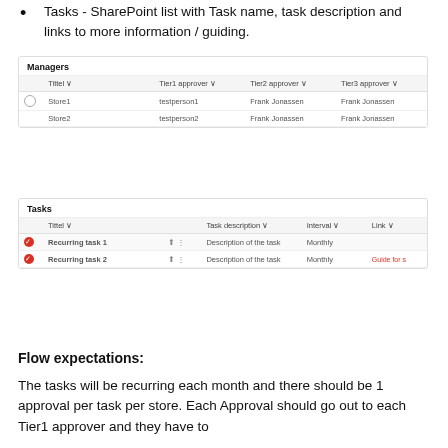Tasks - SharePoint list with Task name, task description and links to more information / guiding.
[Figure (screenshot): Managers SharePoint list screenshot showing columns: Tittel, Tier1 approver, Tier2 approver, Tier3 approver. Rows: Store1 with testperson1, Frank Jonassen, Frank Jonassen; Store2 with testperson2, Frank Jonassen, Frank Jonassen.]
[Figure (screenshot): Tasks SharePoint list screenshot showing columns: Tittel, Task description, Interval, Link. Rows: Recurring task 1 - Description of the task, Monthly; Recurring task 2 - Description of the task, Monthly, Guide for s...]
Flow expectations:
The tasks will be recurring each month and there should be 1 approval per task per store. Each Approval should go out to each Tier1 approver and they have to